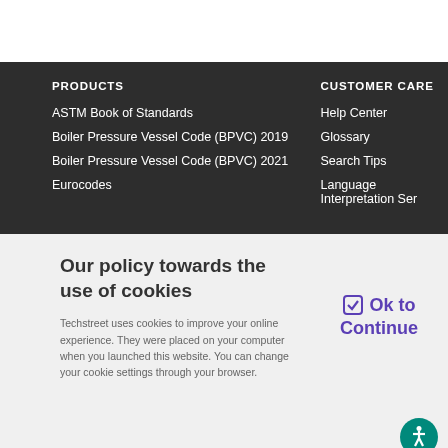PRODUCTS
ASTM Book of Standards
Boiler Pressure Vessel Code (BPVC) 2019
Boiler Pressure Vessel Code (BPVC) 2021
Eurocodes
CUSTOMER CARE
Help Center
Glossary
Search Tips
Language Interpretation Ser...
Our policy towards the use of cookies
Techstreet uses cookies to improve your online experience. They were placed on your computer when you launched this website. You can change your cookie settings through your browser.
Ok to Continue